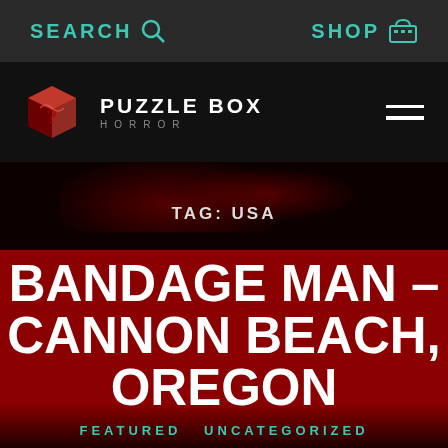SEARCH  SHOP
[Figure (logo): Puzzle Box Horror logo: red cube with question mark icon, white text PUZZLE BOX HORROR]
TAG: USA
BANDAGE MAN – CANNON BEACH, OREGON
FEATURED  UNCATEGORIZED